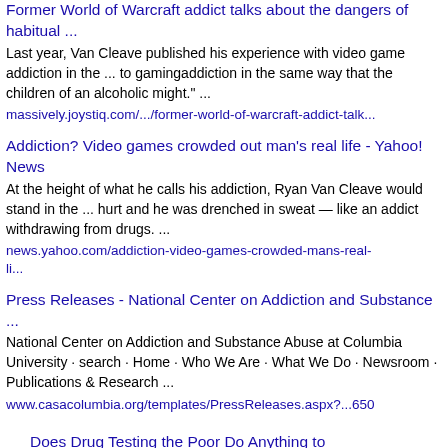Former World of Warcraft addict talks about the dangers of habitual ...
Last year, Van Cleave published his experience with video game addiction in the ... to gamingaddiction in the same way that the children of an alcoholic might." ...
massively.joystiq.com/.../former-world-of-warcraft-addict-talk...
Addiction? Video games crowded out man's real life - Yahoo! News
At the height of what he calls his addiction, Ryan Van Cleave would stand in the ... hurt and he was drenched in sweat — like an addict withdrawing from drugs. ...
news.yahoo.com/addiction-video-games-crowded-mans-real-li...
Press Releases - National Center on Addiction and Substance ...
National Center on Addiction and Substance Abuse at Columbia University · search · Home · Who We Are · What We Do · Newsroom · Publications & Research ...
www.casacolumbia.org/templates/PressReleases.aspx?...650
Does Drug Testing the Poor Do Anything to